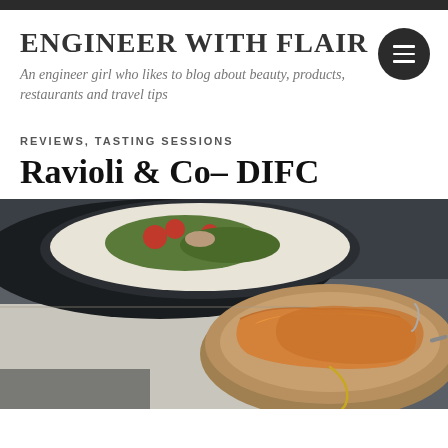ENGINEER WITH FLAIR
An engineer girl who likes to blog about beauty, products, restaurants and travel tips
REVIEWS, TASTING SESSIONS
Ravioli & Co– DIFC
[Figure (photo): Food photograph showing a plate with salad in the background and a bowl of baked pastry/bread in the foreground with olive oil drizzle, on a restaurant table]